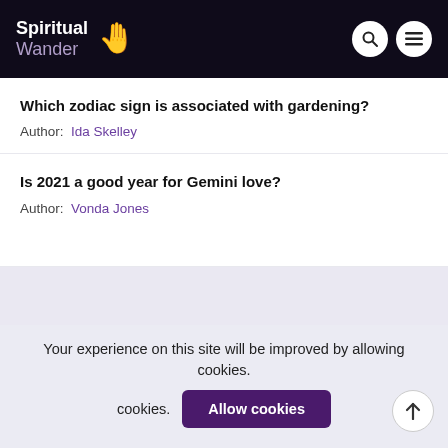Spiritual Wander
Which zodiac sign is associated with gardening?
Author: Ida Skelley
Is 2021 a good year for Gemini love?
Author: Vonda Jones
Your experience on this site will be improved by allowing cookies.